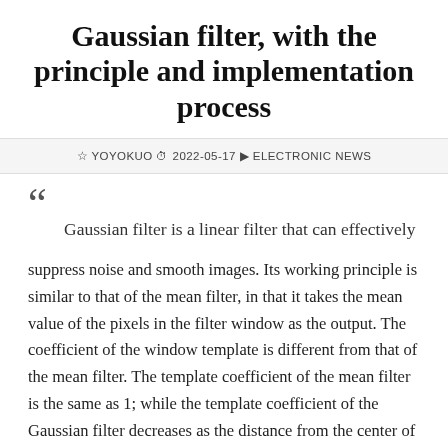Gaussian filter, with the principle and implementation process
YOYOKUO  2022-05-17  ELECTRONIC NEWS
Gaussian filter is a linear filter that can effectively suppress noise and smooth images. Its working principle is similar to that of the mean filter, in that it takes the mean value of the pixels in the filter window as the output. The coefficient of the window template is different from that of the mean filter. The template coefficient of the mean filter is the same as 1; while the template coefficient of the Gaussian filter decreases as the distance from the center of the template increases. Therefore, the Gaussian filter has a smaller degree of blurring on the image than the mean filter.
Gaussian filter is a linear filter that can effectively suppress noise and smooth images. Its working